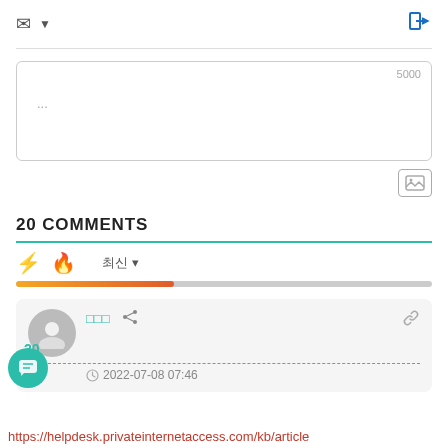[Figure (screenshot): Comment submission UI with email icon, dropdown, login button, textarea with 5000 char limit, image upload icon, 20 COMMENTS section header with teal underline, sort bar with bolt and fire icons, progress bar, and a comment card showing user, date 2022-07-08 07:46, score 20, and a teal chat bubble button. Footer shows helpdesk.privateinternetaccess.com/kb/article URL.]